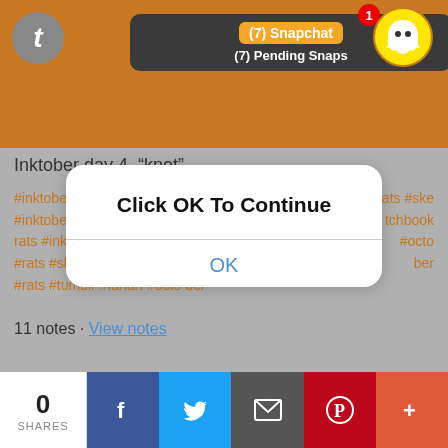[Figure (screenshot): Top navigation bar with orange/brown background. Shows Tumblr 't' icon on the left, a Snapchat notification popup in the center reading '(7) Snapchat' and '(7) Pending Snaps', and a Snapchat ghost icon with a red badge showing '1' on the right.]
Inktober day 4, "knot"
#inktober #inktober2021 #inktober day 4 hello we are rats #ink #inktoberdoodle #art #rats #sketchbook #doodle #rats #tumblr #fanart #october
11 notes · View notes
[Figure (screenshot): iOS-style modal dialog with white rounded rectangle. Title reads 'Click OK To Continue' in bold black text. Below a divider is a blue 'OK' button text.]
[Figure (screenshot): Bottom share bar showing: '0 SHARES' on the left, then Facebook (blue), Twitter (light blue), Email (dark gray), Pinterest (red), and More (+) (orange-red) share buttons.]